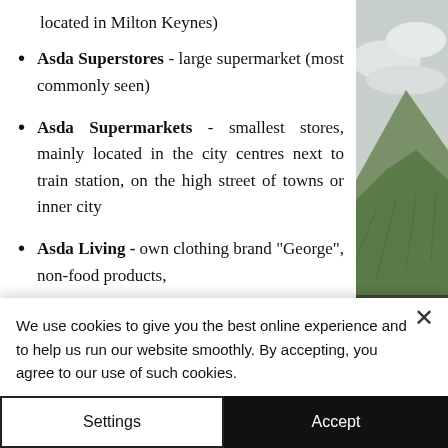located in Milton Keynes)
Asda Superstores - large supermarket (most commonly seen)
Asda Supermarkets - smallest stores, mainly located in the city centres next to train station, on the high street of towns or inner city
Asda Living - own clothing brand "George", non-food products,
[Figure (photo): Landscape photo of green hillside/mountain with cloudy sky]
We use cookies to give you the best online experience and to help us run our website smoothly. By accepting, you agree to our use of such cookies.
Settings
Accept